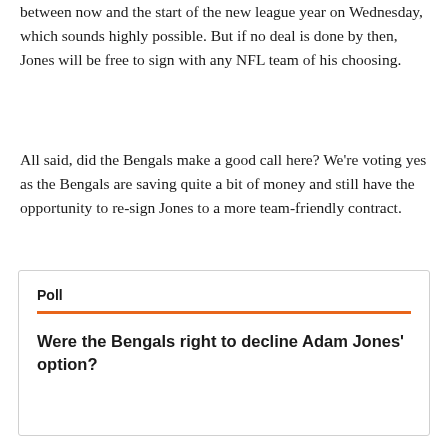between now and the start of the new league year on Wednesday, which sounds highly possible. But if no deal is done by then, Jones will be free to sign with any NFL team of his choosing.
All said, did the Bengals make a good call here? We're voting yes as the Bengals are saving quite a bit of money and still have the opportunity to re-sign Jones to a more team-friendly contract.
Poll
Were the Bengals right to decline Adam Jones' option?